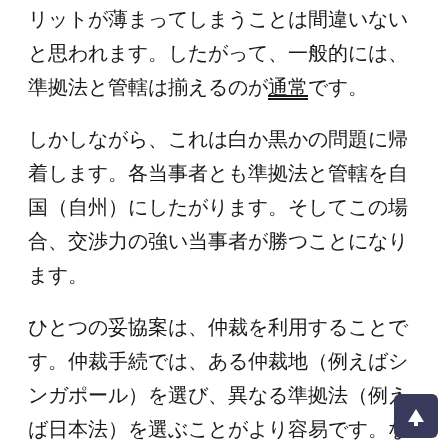リットが薄まってしまうことは間違いないと思われます。したがって、一般的には、準拠法と管轄は揃えるのが通常です。
しかしながら、これは白か黒かの問題に帰着します。各当事者とも準拠法と管轄を自国（自州）にしたがります。そしてこの場合、交渉力の強い当事者が勝つことになります。
ひとつの妥協案は、仲裁を利用することです。仲裁手続では、ある仲裁地（例えばシンガポール）を選び、異なる準拠法（例えば日本法）を選ぶことがより容易です。なぜか？　仲裁の場合、当事者が仲裁人を選ぶことができ、仲裁人は仲裁地の人である必要はありません。したがって、日本法に詳しい仲裁人を選びつつ、中立の場所で紛争解決するということが可能になります。一方当事者が準拠法の点で「勝つ」一方で、他方の当事者が紛争地で「勝つ」ことが可能です。そして準拠法での「勝ち」